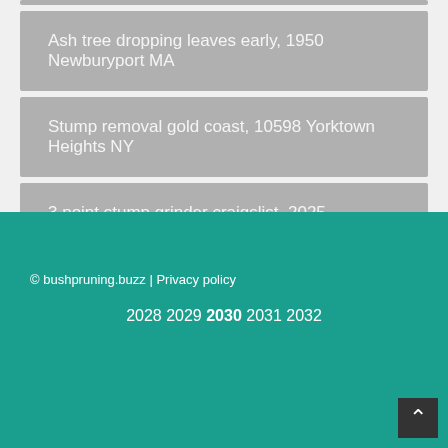Ash tree dropping leaves early, 1950 Newburyport MA
Stump removal gold coast, 10598 Yorktown Heights NY
3 point stump grinder craigslist, 2025 Cohasset MA
© bushpruning.buzz | Privacy policy
2028 2029 2030 2031 2032